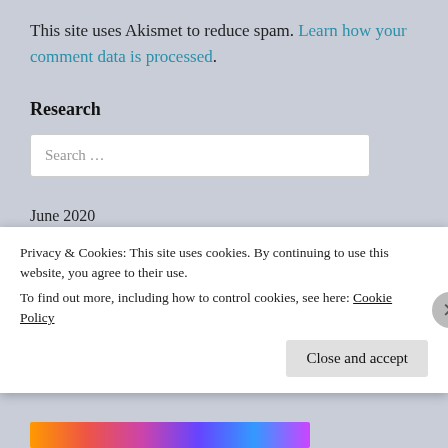This site uses Akismet to reduce spam. Learn how your comment data is processed.
Research
Search ...
June 2020
| M | T | W | T | F | S | S |
| --- | --- | --- | --- | --- | --- | --- |
Privacy & Cookies: This site uses cookies. By continuing to use this website, you agree to their use.
To find out more, including how to control cookies, see here: Cookie Policy
Close and accept